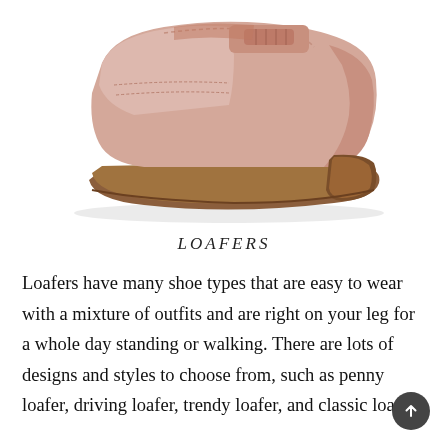[Figure (photo): A pink/blush leather penny loafer shoe photographed against a white background, showing the side profile with a brown rubber sole and stitched detailing.]
LOAFERS
Loafers have many shoe types that are easy to wear with a mixture of outfits and are right on your leg for a whole day standing or walking. There are lots of designs and styles to choose from, such as penny loafer, driving loafer, trendy loafer, and classic loafer.